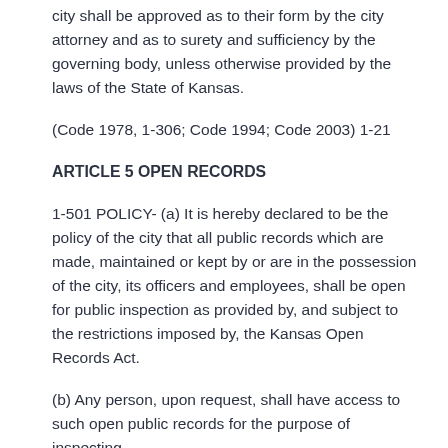city shall be approved as to their form by the city attorney and as to surety and sufficiency by the governing body, unless otherwise provided by the laws of the State of Kansas.
(Code 1978, 1-306; Code 1994; Code 2003) 1-21
ARTICLE 5 OPEN RECORDS
1-501 POLICY- (a) It is hereby declared to be the policy of the city that all public records which are made, maintained or kept by or are in the possession of the city, its officers and employees, shall be open for public inspection as provided by, and subject to the restrictions imposed by, the Kansas Open Records Act.
(b) Any person, upon request, shall have access to such open public records for the purpose of inspecting,